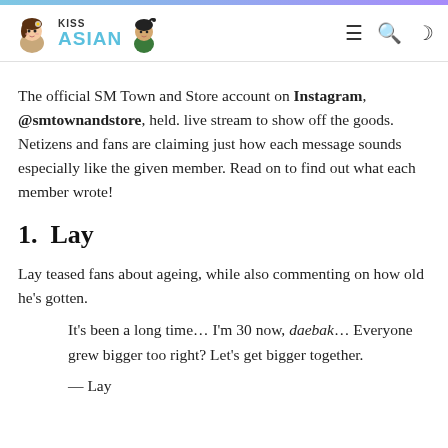KissAsian navigation header with logo and icons
The official SM Town and Store account on Instagram, @smtownandstore, held. live stream to show off the goods. Netizens and fans are claiming just how each message sounds especially like the given member. Read on to find out what each member wrote!
1.  Lay
Lay teased fans about ageing, while also commenting on how old he's gotten.
It's been a long time… I'm 30 now, daebak… Everyone grew bigger too right? Let's get bigger together.
— Lay